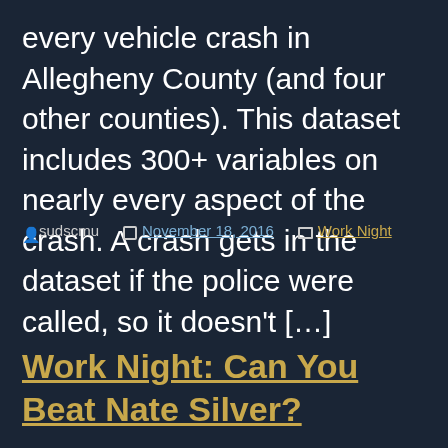every vehicle crash in Allegheny County (and four other counties). This dataset includes 300+ variables on nearly every aspect of the crash. A crash gets in the dataset if the police were called, so it doesn't […]
Post by sudscmu  |  November 18, 2016  |  Work Night
Work Night: Can You Beat Nate Silver?